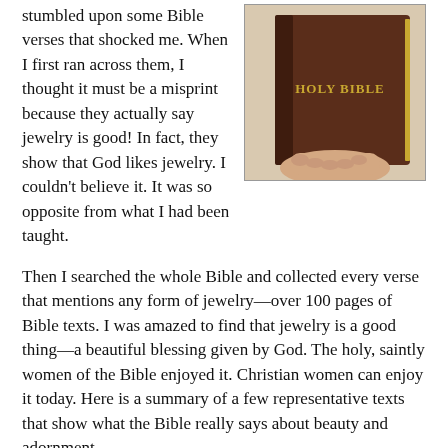stumbled upon some Bible verses that shocked me. When I first ran across them, I thought it must be a misprint because they actually say jewelry is good! In fact, they show that God likes jewelry. I couldn't believe it. It was so opposite from what I had been taught.
[Figure (photo): A person holding a dark brown Holy Bible book, with gold text reading HOLY BIBLE on the cover.]
Then I searched the whole Bible and collected every verse that mentions any form of jewelry—over 100 pages of Bible texts. I was amazed to find that jewelry is a good thing—a beautiful blessing given by God. The holy, saintly women of the Bible enjoyed it. Christian women can enjoy it today. Here is a summary of a few representative texts that show what the Bible really says about beauty and adornment.
God told Moses to command the Israelite women to take silver and gold jewelry and put it on their daughters. (Exodus 3:22)